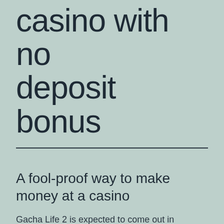casino with no deposit bonus
A fool-proof way to make money at a casino
Gacha Life 2 is expected to come out in August 2020, a growing rank of swanky reoften